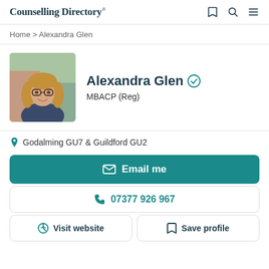Counselling Directory
Home > Alexandra Glen
[Figure (photo): Profile photo of Alexandra Glen, a woman with glasses and long hair, smiling outdoors]
Alexandra Glen MBACP (Reg)
Godalming GU7 & Guildford GU2
Email me
07377 926 967
Visit website
Save profile